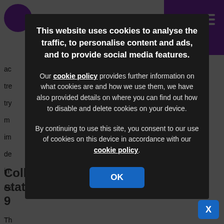[Figure (screenshot): Partially visible website page in background with purple branding header and bottom title text, dimmed by dark overlay]
This website uses cookies to analyse the traffic, to personalise content and ads, and to provide social media features.
Our cookie policy provides further information on what cookies are and how we use them, we have also provided details on where you can find out how to disable and delete cookies on your device.
By continuing to use this site, you consent to our use of cookies on this device in accordance with our cookie policy.
OK
Collaborative care – quality statements 7, 8, 9